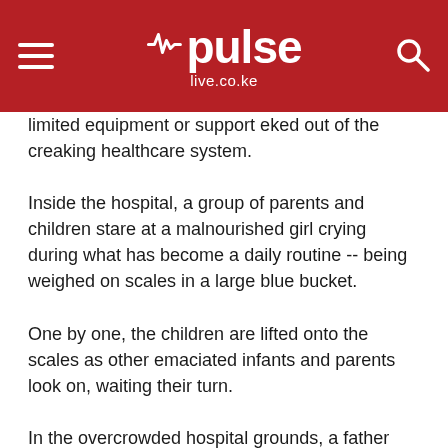pulse live.co.ke
…Do you A.S practitioners themselves, struggling with limited equipment or support eked out of the creaking healthcare system.
Inside the hospital, a group of parents and children stare at a malnourished girl crying during what has become a daily routine -- being weighed on scales in a large blue bucket.
One by one, the children are lifted onto the scales as other emaciated infants and parents look on, waiting their turn.
In the overcrowded hospital grounds, a father called Theodore hugs his young daughter who is suffering from malnutrition.
His wife is in hospital after having a nervous breakdown,